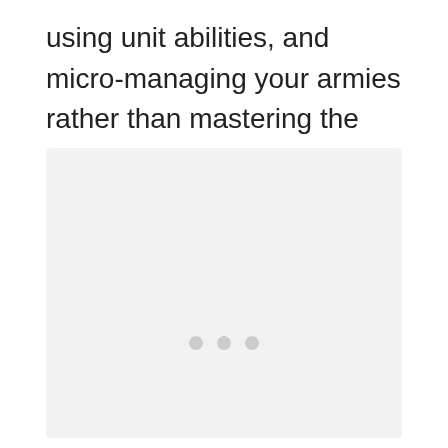using unit abilities, and micro-managing your armies rather than mastering the macro.
[Figure (other): A large light gray placeholder image box with three small gray dots centered near the bottom, indicating a loading or empty image state.]